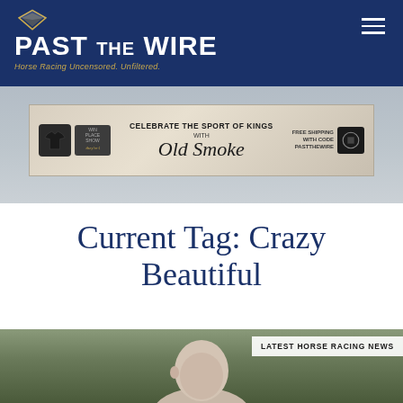PAST THE WIRE — Horse Racing Uncensored. Unfiltered.
[Figure (photo): Advertisement banner: CELEBRATE THE SPORT OF KINGS WITH Old Smoke FREE SHIPPING WITH CODE PASTTHEWIRE]
Current Tag: Crazy Beautiful
[Figure (photo): Photo of a bald man outdoors with green background, with overlay text LATEST HORSE RACING NEWS]